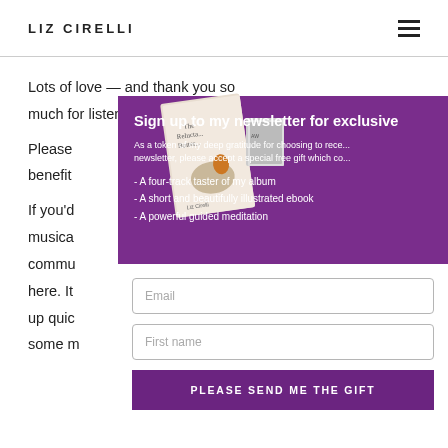LIZ CIRELLI
Lots of love — and thank you so much for listening.
Please ... benefit ...
If you'd ... musica... commu... here. It... up quic... some m...
Sign up to my newsletter for exclusive
As a token of my deep gratitude for choosing to rece... newsletter, please accept a special free gift which co...
- A four-track taster of my album
- A short and beautifully illustrated ebook
- A powerful guided meditation
[Figure (illustration): Book cover 'The Reluctant Butterfly' by Liz Cirelli and a CD/album case]
Email
First name
PLEASE SEND ME THE GIFT